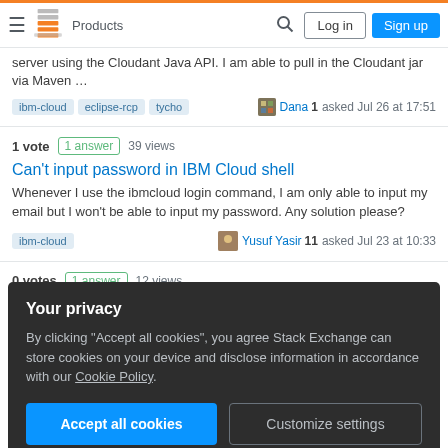Stack Overflow — Products | Log in | Sign up
server using the Cloudant Java API. I am able to pull in the Cloudant jar via Maven …
ibm-cloud   eclipse-rcp   tycho   Dana 1 asked Jul 26 at 17:51
1 vote  1 answer  39 views
Can't input password in IBM Cloud shell
Whenever I use the ibmcloud login command, I am only able to input my email but I won't be able to input my password. Any solution please?
ibm-cloud   Yusuf Yasir 11 asked Jul 23 at 10:33
0 votes  1 answer  12 views
Your privacy
By clicking "Accept all cookies", you agree Stack Exchange can store cookies on your device and disclose information in accordance with our Cookie Policy.
Accept all cookies   Customize settings
IBM Watson Assistant: How to deal with numbers in user